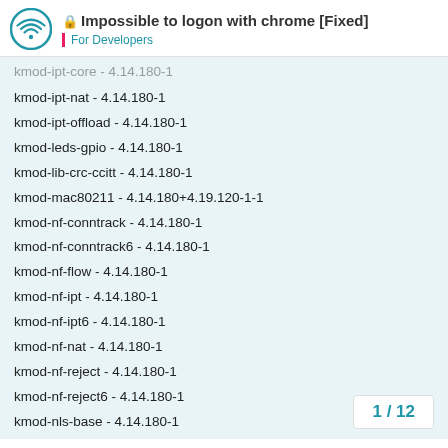Impossible to logon with chrome [Fixed] — For Developers
kmod-ipt-core - 4.14.180-1
kmod-ipt-nat - 4.14.180-1
kmod-ipt-offload - 4.14.180-1
kmod-leds-gpio - 4.14.180-1
kmod-lib-crc-ccitt - 4.14.180-1
kmod-mac80211 - 4.14.180+4.19.120-1-1
kmod-nf-conntrack - 4.14.180-1
kmod-nf-conntrack6 - 4.14.180-1
kmod-nf-flow - 4.14.180-1
kmod-nf-ipt - 4.14.180-1
kmod-nf-ipt6 - 4.14.180-1
kmod-nf-nat - 4.14.180-1
kmod-nf-reject - 4.14.180-1
kmod-nf-reject6 - 4.14.180-1
kmod-nls-base - 4.14.180-1
kmod-ppp - 4.14.180-1
kmod-pppoe - 4.14.180-1
kmod-pppox - 4.14.180-1
kmod-slhc - 4.14.180-1
1 / 12